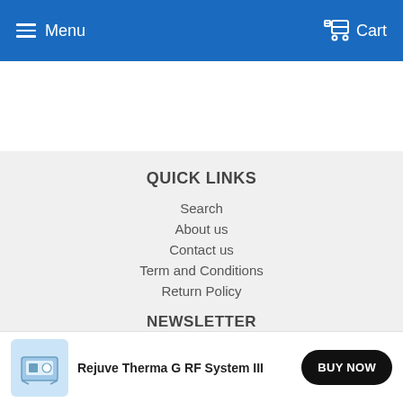Menu  Cart
QUICK LINKS
Search
About us
Contact us
Term and Conditions
Return Policy
NEWSLETTER
Promotions, new products and sales. Directly to your inbox.
Rejuve Therma G RF System III
BUY NOW